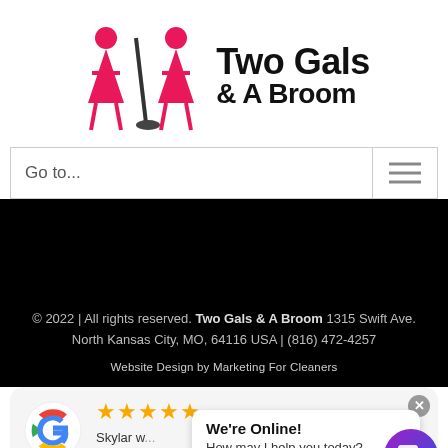[Figure (logo): Two Gals & A Broom logo with two pink female figures and broom icon, with text 'Two Gals & A Broom' in bold black]
Go to...
© 2022 | All rights reserved. Two Gals & A Broom 1315 Swift Ave. North Kansas City, MO, 64116 USA | (816) 472-4257
Website Design by Marketing For Cleaners
[Figure (screenshot): Google review card with 5 gold stars, reviewer text starting with 'Skylar w...all her h...' by Angela G, overlaid with a chat popup 'We're Online! How may I help you today?' and a chat button]